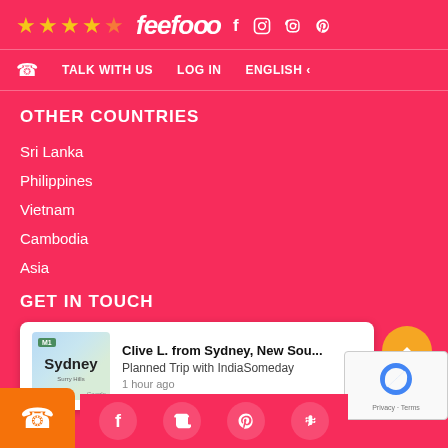feefo ★★★★☆ — social icons: Facebook, Instagram, Pinterest
TALK WITH US   LOG IN   ENGLISH
OTHER COUNTRIES
Sri Lanka
Philippines
Vietnam
Cambodia
Asia
GET IN TOUCH
Clive L. from Sydney, New Sou...
Planned Trip with IndiaSomeday
1 hour ago